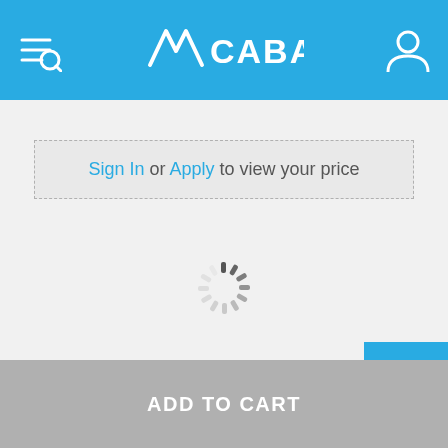[Figure (logo): CABAC company logo with stylized wing/arrow icon on blue header bar with menu and user icons]
Sign In or Apply to view your price
[Figure (other): Loading spinner (animated circular spinner)]
- 1 + (quantity selector)
ADD TO CART